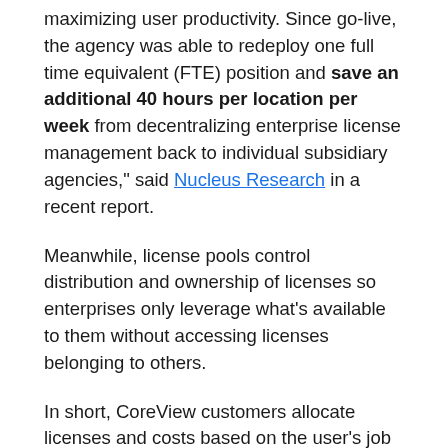maximizing user productivity. Since go-live, the agency was able to redeploy one full time equivalent (FTE) position and save an additional 40 hours per location per week from decentralizing enterprise license management back to individual subsidiary agencies," said Nucleus Research in a recent report.
Meanwhile, license pools control distribution and ownership of licenses so enterprises only leverage what’s available to them without accessing licenses belonging to others.
In short, CoreView customers allocate licenses and costs based on the user’s job description and needs – not guesswork.
Adoption – Wasted M365 Apps and Services –